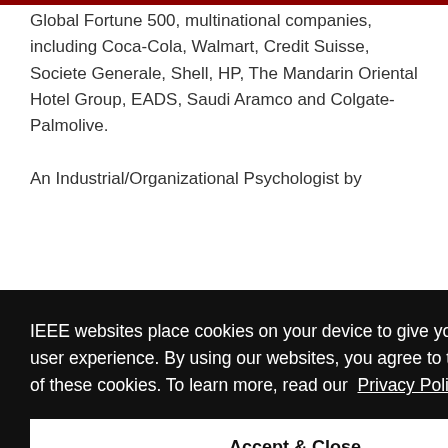Global Fortune 500, multinational companies, including Coca-Cola, Walmart, Credit Suisse, Societe Generale, Shell, HP, The Mandarin Oriental Hotel Group, EADS, Saudi Aramco and Colgate-Palmolive.
An Industrial/Organizational Psychologist by [text partially obscured by cookie overlay] ars [text partially obscured] d [text partially obscured] d [text partially obscured] ned [text partially obscured] d [text partially obscured] d [text partially obscured] both areas across North America and Asia Pacific.
IEEE websites place cookies on your device to give you the best user experience. By using our websites, you agree to the placement of these cookies. To learn more, read our Privacy Policy.
Accept & Close